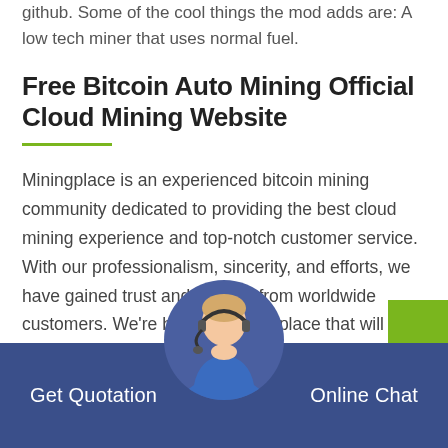github. Some of the cool things the mod adds are: A low tech miner that uses normal fuel.
Free Bitcoin Auto Mining Official Cloud Mining Website
Miningplace is an experienced bitcoin mining community dedicated to providing the best cloud mining experience and top-notch customer service. With our professionalism, sincerity, and efforts, we have gained trust and support from worldwide customers. We're building miningplace that will bring anyone who believes in bitcoin to join the ...
Mining Minecraft Mods Planet Minecraft
Get Quotation
Online Chat